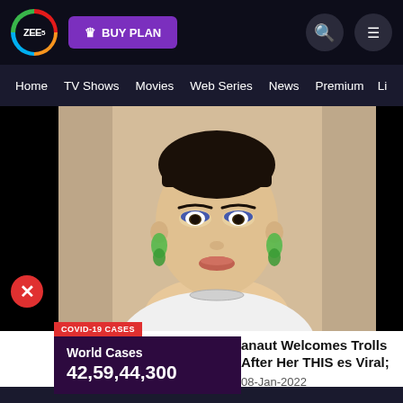[Figure (screenshot): ZEE5 streaming platform website header with logo, BUY PLAN button, search and menu icons]
Home   TV Shows   Movies   Web Series   News   Premium   Li
[Figure (photo): Actress with short hair, blue eye makeup, green earrings, wearing white top, posing against curtain background]
COVID-19 CASES
World Cases
42,59,44,300
anaut Welcomes Trolls After Her THIS es Viral; Netizens Call Her 'Chudail' – Dee...
08-Jan-2022